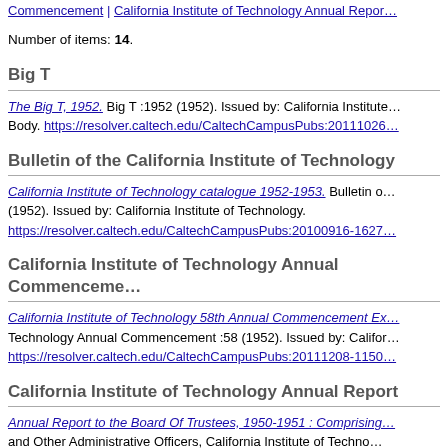Commencement | California Institute of Technology Annual Report
Number of items: 14.
Big T
The Big T, 1952. Big T :1952 (1952). Issued by: California Institute [of Technology] Student Body. https://resolver.caltech.edu/CaltechCampusPubs:20111026
Bulletin of the California Institute of Technology
California Institute of Technology catalogue 1952-1953. Bulletin of... (1952). Issued by: California Institute of Technology. https://resolver.caltech.edu/CaltechCampusPubs:20100916-1627
California Institute of Technology Annual Commencement
California Institute of Technology 58th Annual Commencement Ex... Technology Annual Commencement :58 (1952). Issued by: Califor... https://resolver.caltech.edu/CaltechCampusPubs:20111208-1150
California Institute of Technology Annual Report
Annual Report to the Board Of Trustees, 1950-1951 : Comprising... and Other Administrative Officers, California Institute of Techno...